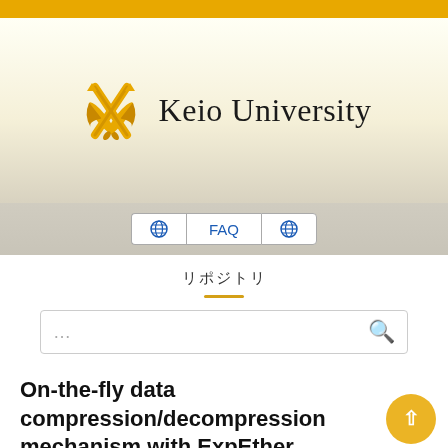[Figure (logo): Keio University logo with crossed golden quills and text 'Keio University']
[Figure (screenshot): Navigation bar with globe icon, FAQ button, and second globe icon]
リポジトリ
...
On-the-fly data compression/decompression mechanism with ExpEther
Hideki Shimura, Takuji Mitsuishi, Hideharu Amano, Masaki Kan, Takashi Yoshikawa